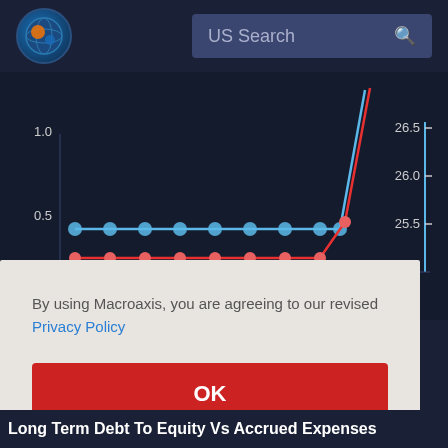[Figure (logo): Macroaxis globe logo - circular icon with orange and blue globe graphic]
US Search
[Figure (line-chart): Line chart showing Long Term Debt To Equity (red line with red dots) vs Accrued Expenses (blue line with blue dots). Left y-axis: 0.5 to 1.0. Right y-axis: 25.5 to 26.5. Both lines are mostly flat then spike sharply upward at the right end.]
By using Macroaxis, you are agreeing to our revised Privacy Policy
OK
Long Term Debt To Equity Vs Accrued Expenses